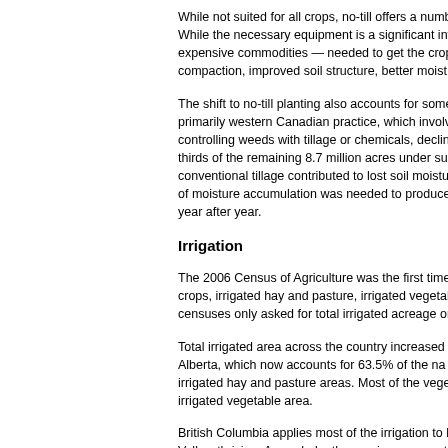While not suited for all crops, no-till offers a numb While the necessary equipment is a significant inv expensive commodities — needed to get the crop compaction, improved soil structure, better moist
The shift to no-till planting also accounts for some primarily western Canadian practice, which involv controlling weeds with tillage or chemicals, declin thirds of the remaining 8.7 million acres under su conventional tillage contributed to lost soil moistu of moisture accumulation was needed to produce year after year.
Irrigation
The 2006 Census of Agriculture was the first time crops, irrigated hay and pasture, irrigated vegetab censuses only asked for total irrigated acreage or
Total irrigated area across the country increased Alberta, which now accounts for 63.5% of the na irrigated hay and pasture areas. Most of the veg irrigated vegetable area.
British Columbia applies most of the irrigation to Valley, thriving. As a whole, the province account